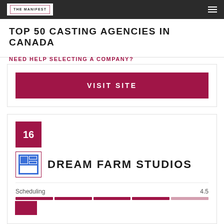THE MANIFEST
TOP 50 CASTING AGENCIES IN CANADA
NEED HELP SELECTING A COMPANY?
VISIT SITE
16
DREAM FARM STUDIOS
Scheduling  4.5